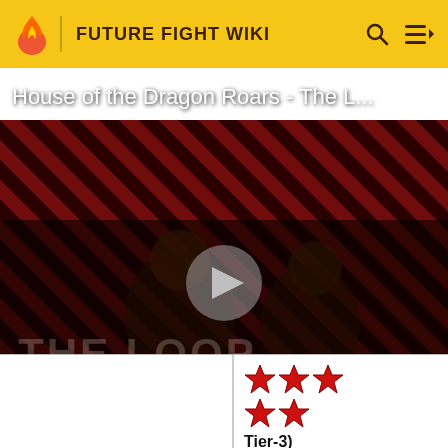FUTURE FIGHT WIKI
[Figure (screenshot): Video thumbnail for 'House of the Dragon Roars - The L...' with play button, striped red/dark background, 'THE LOOP' text overlay, and NaN:NaN time badge]
|  |  |
| --- | --- |
|  | ★★★★★ (Tier-3) |
| Level | 1 (70 T3) |
| Energy Atk | 36 (12133) |